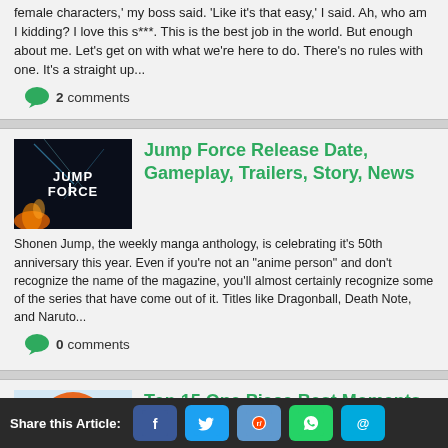female characters,' my boss said. 'Like it's that easy,' I said. Ah, who am I kidding? I love this s***. This is the best job in the world. But enough about me. Let's get on with what we're here to do. There's no rules with one. It's a straight up...
2 comments
[Figure (illustration): Jump Force game logo on dark background with fire/energy effects]
Jump Force Release Date, Gameplay, Trailers, Story, News
Shonen Jump, the weekly manga anthology, is celebrating it's 50th anniversary this year. Even if you're not an "anime person" and don't recognize the name of the magazine, you'll almost certainly recognize some of the series that have come out of it. Titles like Dragonball, Death Note, and Naruto...
0 comments
[Figure (illustration): Anime character with orange hair (One Piece character Nami)]
Top 15 One Piece Best Moments Worth
Share this Article: